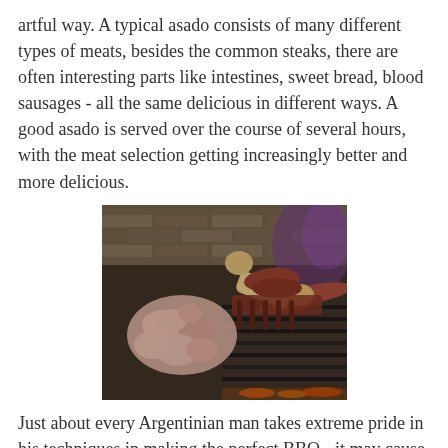artful way. A typical asado consists of many different types of meats, besides the common steaks, there are often interesting parts like intestines, sweet bread, blood sausages - all the same delicious in different ways. A good asado is served over the course of several hours, with the meat selection getting increasingly better and more delicious.
[Figure (photo): A large asado grill loaded with various cuts of meat including intestines, sausages, ribs, and other offal cooking over a grill grate with embers beneath, in a brick-walled setting.]
Just about every Argentinian man takes extreme pride in his techniques in making the perfect BBQ - it may cause a heated debate as to who is the best asador. But there is no doubt in my mind that the best BBQ is in Argentina.
We have had the honour of joining a few and it never failed